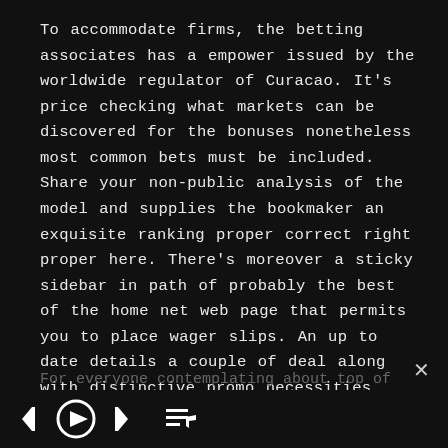To accommodate firms, the betting associates has a empower issued by the worldwide regulator of Curacao. It's price checking what markets can be discovered for the bonuses nonetheless most common bets must be included. Share your non-public analysis of the model and supplies the bookmaker an exquisite ranking proper correct right proper here. There's moreover a sticky sidebar in path of probably the best of the home net web page that permits you to place wager slips. An up to date details a couple of deal along with distinctive promo necessities could be discovered on 1xbet app.
For everyone contemplating about top of the mind, and take heed to SuperOdds